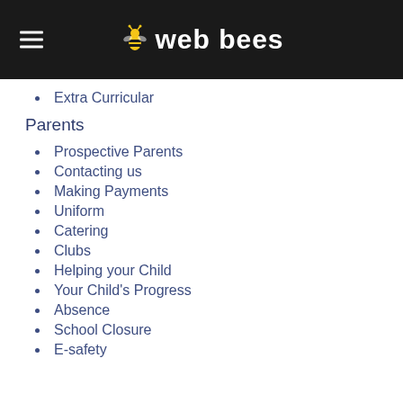[Figure (logo): Web Bees logo: hamburger menu icon on left, bee icon and 'web bees' text in white on black background]
Extra Curricular
Parents
Prospective Parents
Contacting us
Making Payments
Uniform
Catering
Clubs
Helping your Child
Your Child's Progress
Absence
School Closure
E-safety